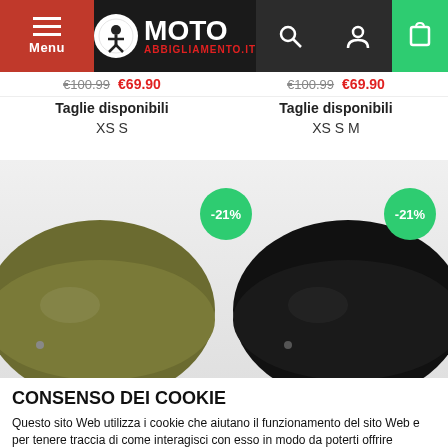[Figure (screenshot): Website navigation header for motoabbigliamento.it with menu button, logo, search, user, and cart icons]
€100.99  €69.90  |  €100.99  €69.90
Taglie disponibili
XS S
Taglie disponibili
XS S M
[Figure (photo): Two motorcycle helmets shown side by side. Left helmet is olive/green colored, right is black. Both have -21% discount badges in green circles.]
CONSENSO DEI COOKIE
Questo sito Web utilizza i cookie che aiutano il funzionamento del sito Web e per tenere traccia di come interagisci con esso in modo da poterti offrire un'esperienza utente migliorata e personalizzata. Noi ti forniamo la soluzione ottimale per poter godere appieno tutte le funzionalità del sito, in alternativa puoi gestire le preferenze dei singoli cookie dalle Impostazioni.
Rifiuta | Accetta selezionati | Accetta tutti
Necessari  Funzionale  Analytics  Advertisement  Mostra dettagli